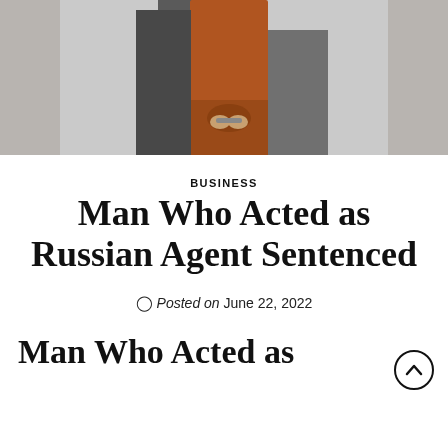[Figure (photo): A person in a brown/rust colored outfit with hands appearing to be cuffed behind their back, shown from the waist down against a grey background.]
BUSINESS
Man Who Acted as Russian Agent Sentenced
Posted on June 22, 2022
Man Who Acted as